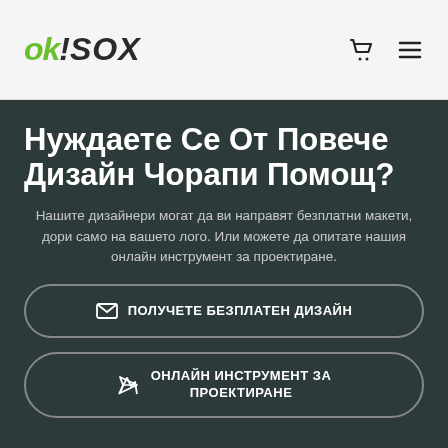ok!SOX
Нуждаете Се От Повече Дизайн Чорапи Помощ?
Нашите дизайнери могат да ви направят безплатни макети, дори само на вашето лого. Или можете да опитате нашия онлайн инструмент за проектиране.
✉ ПОЛУЧЕТЕ БЕЗПЛАТЕН ДИЗАЙН
➤ ОНЛАЙН ИНСТРУМЕНТ ЗА ПРОЕКТИРАНЕ